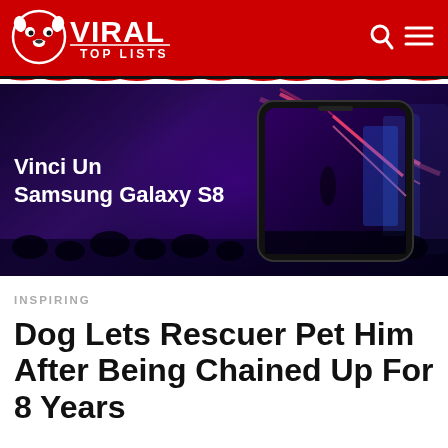[Figure (logo): Viral Top Lists logo — stylized text with cartoon dog face icon on red background]
[Figure (infographic): Advertisement banner for Samsung Galaxy S8 giveaway — 'Vinci Un Samsung Galaxy S8' text on left, phone mockup showing concert scene on right, dark purple background]
INSPIRING
Dog Lets Rescuer Pet Him After Being Chained Up For 8 Years